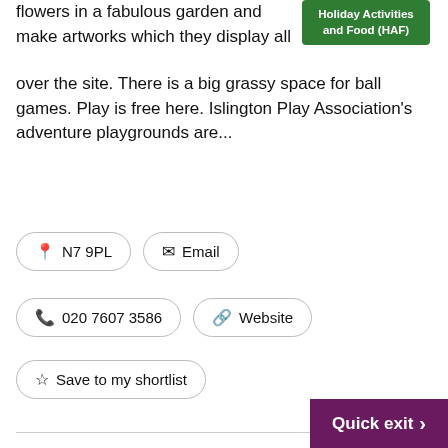[Figure (logo): Holiday Activities and Food (HAF) green badge]
flowers in a fabulous garden and make artworks which they display all over the site. There is a big grassy space for ball games. Play is free here. Islington Play Association's adventure playgrounds are...
📍 N7 9PL
✉ Email
📞 020 7607 3586
🔗 Website
☆ Save to my shortlist
Mayor of Islington
The Worshipful the Mayor is the first citizen of the London Borough of Islington. The Mayor has a specific role to play for the authority during his or her term of office, which runs for a year.